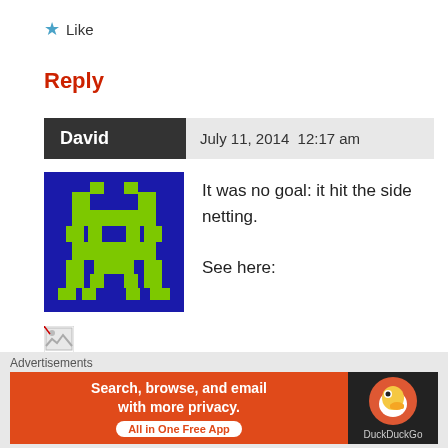★ Like
Reply
David  July 11, 2014  12:17 am
[Figure (illustration): Pixel art avatar of a blue alien/space invader character with green features on dark blue background]
It was no goal: it hit the side netting.

See here:
[Figure (photo): Broken image placeholder icon]
★ Like
Reply
Advertisements
[Figure (infographic): DuckDuckGo advertisement banner: Search, browse, and email with more privacy. All in One Free App. Shows DuckDuckGo duck logo on dark right side.]